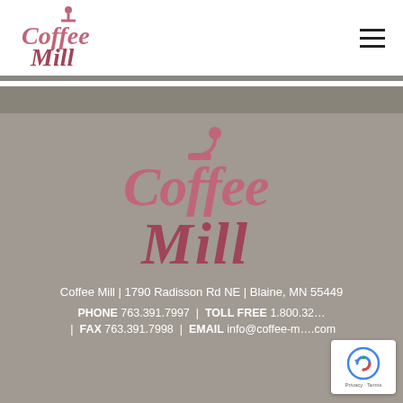[Figure (logo): Coffee Mill logo in header — stylized red/rose script text reading 'Coffee Mill' with a coffee grinder icon above]
[Figure (logo): Hamburger menu icon — three horizontal lines]
[Figure (logo): Large Coffee Mill logo centered on gray background — same stylized script with coffee grinder icon]
Coffee Mill | 1790 Radisson Rd NE | Blaine, MN 55449
PHONE 763.391.7997 | TOLL FREE 1.800.32... | FAX 763.391.7998 | EMAIL info@coffee-m...com